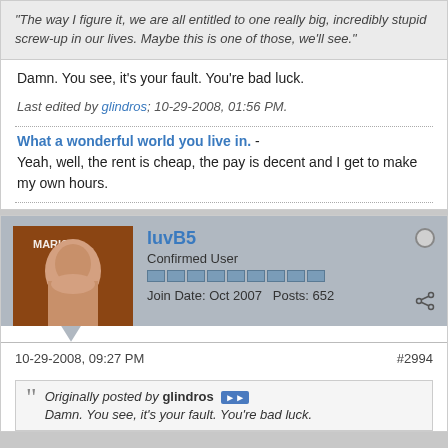"The way I figure it, we are all entitled to one really big, incredibly stupid screw-up in our lives. Maybe this is one of those, we'll see."
Damn. You see, it's your fault. You're bad luck.
Last edited by glindros; 10-29-2008, 01:56 PM.
What a wonderful world you live in. - Yeah, well, the rent is cheap, the pay is decent and I get to make my own hours.
luvB5
Confirmed User
Join Date: Oct 2007    Posts: 652
10-29-2008, 09:27 PM
#2994
Originally posted by glindros Damn. You see, it's your fault. You're bad luck.